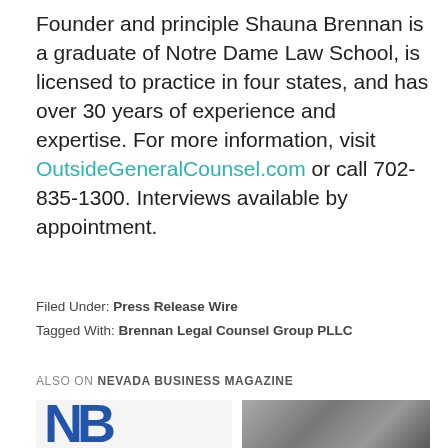Founder and principle Shauna Brennan is a graduate of Notre Dame Law School, is licensed to practice in four states, and has over 30 years of experience and expertise. For more information, visit OutsideGeneralCounsel.com or call 702-835-1300. Interviews available by appointment.
Filed Under: Press Release Wire
Tagged With: Brennan Legal Counsel Group PLLC
ALSO ON NEVADA BUSINESS MAGAZINE
[Figure (photo): Two thumbnail images side by side: left shows a blue NB logo on white background, right shows coins in a jar on dark background]